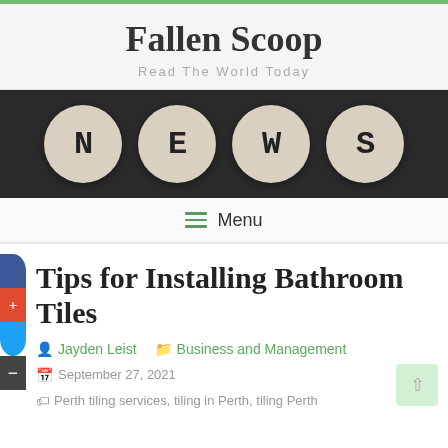Fallen Scoop
Read The World Today
[Figure (photo): Dark background with four circular tile pieces spelling out N E W S in large black letters on cream-colored circular tiles.]
Menu
Tips for Installing Bathroom Tiles
Jayden Leist   Business and Management
September 27, 2021   Perth tiling services, tiling in Perth, tiling Perth